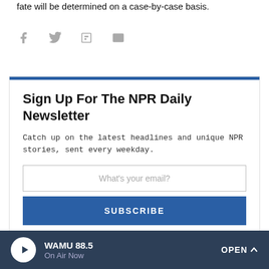fate will be determined on a case-by-case basis.
[Figure (other): Social share icons: Facebook, Twitter, Flipboard, Email]
Sign Up For The NPR Daily Newsletter
Catch up on the latest headlines and unique NPR stories, sent every weekday.
What's your email?
SUBSCRIBE
By subscribing, you agree to NPR's terms of use and privacy policy. NPR may share your name and email address with your NPR station. See Details. This site is protected by reCAPTCHA and the Google Privacy Policy and Terms of Service apply.
WAMU 88.5 On Air Now OPEN